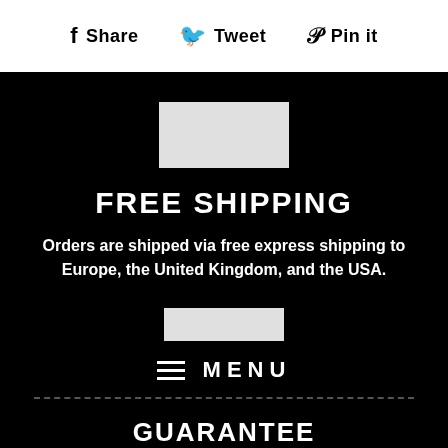Share  Tweet  Pin it
[Figure (logo): Large light grey square logo/image placeholder on black background]
FREE SHIPPING
Orders are shipped via free express shipping to Europe, the United Kingdom, and the USA.
[Figure (logo): Smaller light grey rectangular logo/image placeholder on black background]
MENU
GUARANTEE